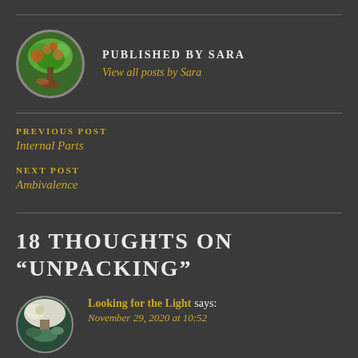[Figure (photo): Circular avatar of Sara showing a colorful tree with red and green foliage]
PUBLISHED BY SARA
View all posts by Sara
PREVIOUS POST
Internal Parts
NEXT POST
Ambivalence
18 THOUGHTS ON “UNPACKING”
[Figure (photo): Circular avatar of commenter Looking for the Light showing tropical scenery]
Looking for the Light says:
November 29, 2020 at 10:52